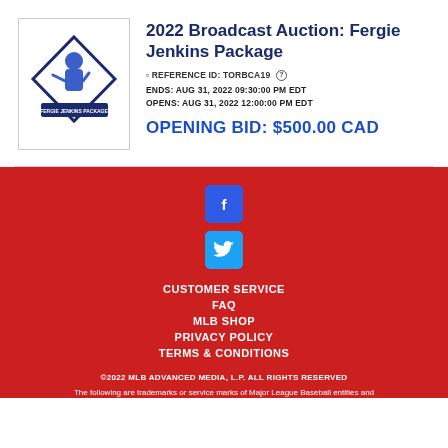[Figure (logo): Fergie Jenkins Package logo — baseball diamond shape with player silhouette and text 'FERGIE JENKINS PACKAGE' on a banner]
2022 Broadcast Auction: Fergie Jenkins Package
REFERENCE ID: TORBCA19
ENDS: AUG 31, 2022 09:30:00 PM EDT
OPENS: AUG 31, 2022 12:00:00 PM EDT
OPENING BID: $500.00 CAD
[Figure (logo): Facebook icon — white 'f' on blue rounded square]
[Figure (logo): Twitter icon — white bird on blue rounded square]
CUSTOMER SERVICE
FAQ
MLB SHOP
PRIVACY POLICY
TERMS & CONDITIONS
©2022 MLB ADVANCED MEDIA, L.P. ALL RIGHTS RESERVED
The following are trademarks or service marks of Major League Baseball entities and